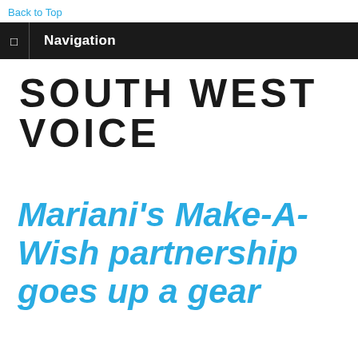Back to Top
Navigation
SOUTH WEST VOICE
Mariani's Make-A-Wish partnership goes up a gear